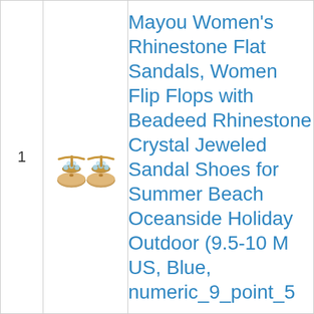| # | Image | Product Title |
| --- | --- | --- |
| 1 | [sandal image] | Mayou Women’s Rhinestone Flat Sandals, Women Flip Flops with Beadeed Rhinestone Crystal Jeweled Sandal Shoes for Summer Beach Oceanside Holiday Outdoor (9.5-10 M US, Blue, numeric_9_point_5 |
[Figure (photo): Pair of tan/gold rhinestone-decorated flat thong sandals, shown from above]